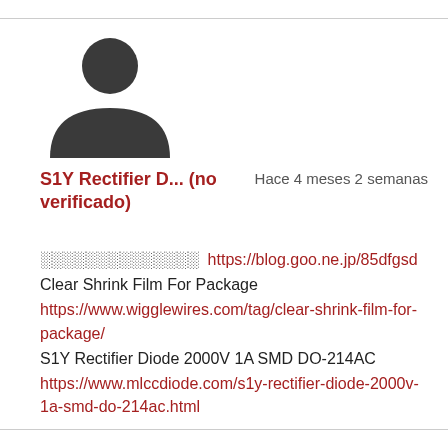[Figure (illustration): Generic user avatar silhouette icon — dark grey person shape (head circle + upper body) on white background]
S1Y Rectifier D... (no verificado)    Hace 4 meses 2 semanas
░░░░░░░░░░░░░░ https://blog.goo.ne.jp/85dfgsd
Clear Shrink Film For Package
https://www.wigglewires.com/tag/clear-shrink-film-for-package/
S1Y Rectifier Diode 2000V 1A SMD DO-214AC
https://www.mlccdiode.com/s1y-rectifier-diode-2000v-1a-smd-do-214ac.html